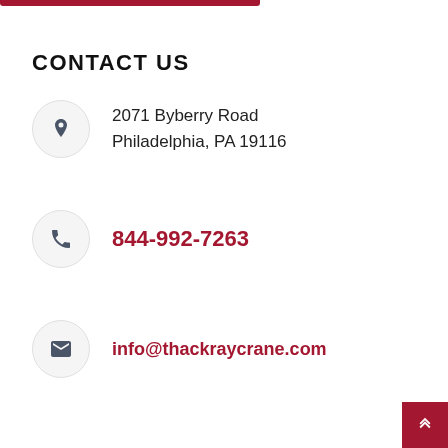CONTACT US
2071 Byberry Road
Philadelphia, PA 19116
844-992-7263
info@thackraycrane.com